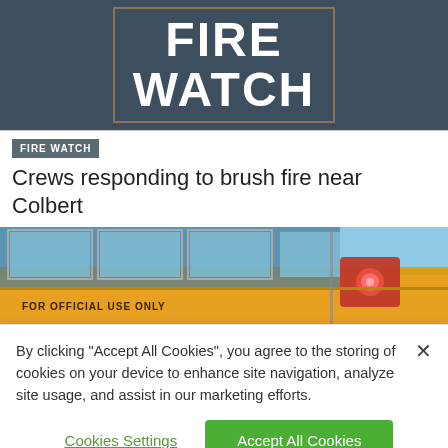[Figure (photo): Dark blue-grey background with large bold white text reading FIRE WATCH, with a rectangular border outline]
FIRE WATCH
Crews responding to brush fire near Colbert
[Figure (photo): Close-up photo of a yellow school bus with a red stop sign with flashing light, and text FOR OFFICIAL USE ONLY on the side of the bus]
By clicking “Accept All Cookies”, you agree to the storing of cookies on your device to enhance site navigation, analyze site usage, and assist in our marketing efforts.
Cookies Settings
Accept All Cookies